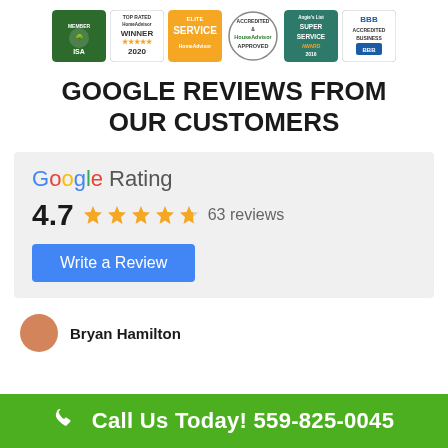[Figure (logo): Row of certification and award badges: ISA Member, Top Rated HomeAdvisor Winner 2020, Elite Service HomeAdvisor, HomeAdvisor Accredited Approved, Angie's List Super Service Award 2016, BBB Accredited Business]
GOOGLE REVIEWS FROM OUR CUSTOMERS
[Figure (infographic): Google Rating widget showing 4.7 stars with 63 reviews and a 'Write a Review' blue button]
Bryan Hamilton
Call Us Today! 559-825-0045